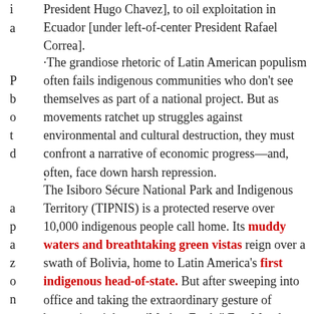President Hugo Chavez], to oil exploitation in Ecuador [under left-of-center President Rafael Correa].
The grandiose rhetoric of Latin American populism often fails indigenous communities who don't see themselves as part of a national project. But as movements ratchet up struggles against environmental and cultural destruction, they must confront a narrative of economic progress—and, often, face down harsh repression.
The Isiboro Sécure National Park and Indigenous Territory (TIPNIS) is a protected reserve over 10,000 indigenous people call home. Its muddy waters and breathtaking green vistas reign over a swath of Bolivia, home to Latin America's first indigenous head-of-state. But after sweeping into office and taking the extraordinary gesture of bestowing rights on 'Mother Earth,' Evo Morales has made a surprising about-face by contracting the Brazilian firm OAS to build a 182-